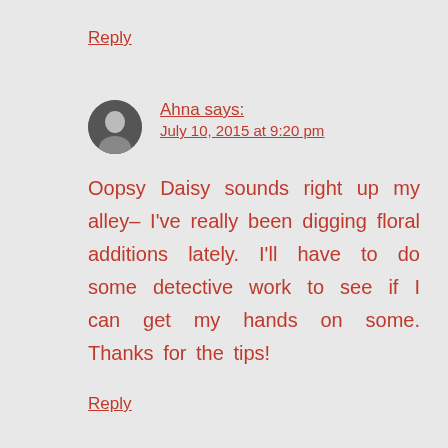Reply
Ahna says:
July 10, 2015 at 9:20 pm
Oopsy Daisy sounds right up my alley– I've really been digging floral additions lately. I'll have to do some detective work to see if I can get my hands on some. Thanks for the tips!
Reply